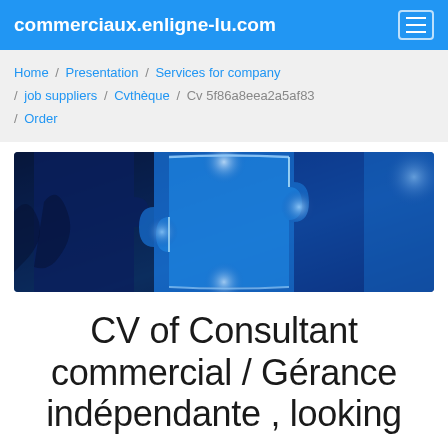commerciaux.enligne-lu.com
Home / Presentation / Services for company / job suppliers / Cvthèque / Cv 5f86a8eea2a5af83 / Order
[Figure (photo): Close-up photo of glowing blue puzzle pieces being assembled, with a hand visible. Blue and white tones with electric glow effect.]
CV of Consultant commercial / Gérance indépendante , looking